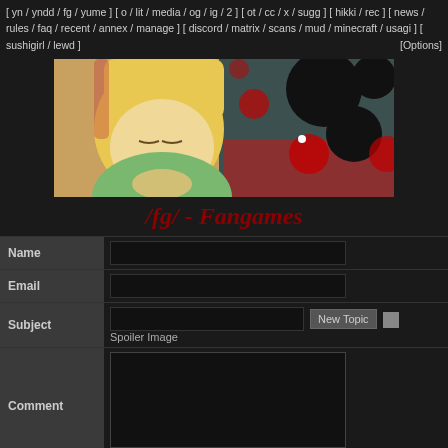[ yn / yndd / fg / yume ] [ o / lit / media / og / ig / 2 ] [ ot / cc / x / sugg ] [ hikki / rec ] [ news / rules / faq / recent / annex / manage ] [ discord / matrix / scans / mud / minecraft / usagi ] [ sushigirl / lewd ]  [Options]
[Figure (illustration): Anime-style illustration of a blonde character in green clothes resting, with abstract black and red circle designs on a dark background]
/fg/ - Fangames
| Name |  |
| Email |  |
| Subject | New Topic  □
Spoiler Image |
| Comment |  |
| Select | File / Oekaki |
| File | Select/drop/paste files here |